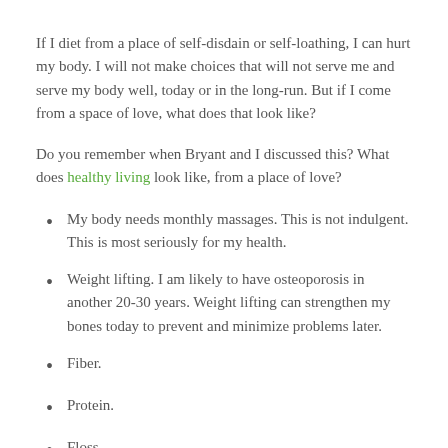If I diet from a place of self-disdain or self-loathing, I can hurt my body. I will not make choices that will not serve me and serve my body well, today or in the long-run. But if I come from a space of love, what does that look like?
Do you remember when Bryant and I discussed this? What does healthy living look like, from a place of love?
My body needs monthly massages. This is not indulgent. This is most seriously for my health.
Weight lifting. I am likely to have osteoporosis in another 20-30 years. Weight lifting can strengthen my bones today to prevent and minimize problems later.
Fiber.
Protein.
Floss.